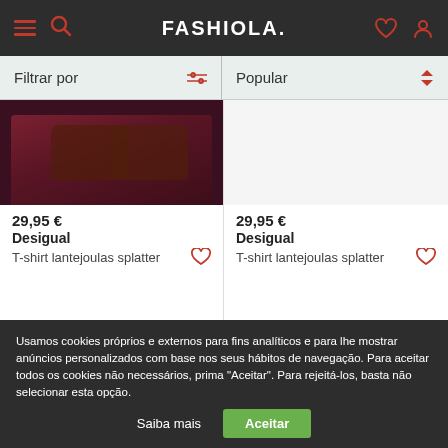FASHIOLA.
Filtrar por
Popular
29,95 €
Desigual
T-shirt lantejoulas splatter
29,95 €
Desigual
T-shirt lantejoulas splatter
Usamos cookies próprios e externos para fins analíticos e para lhe mostrar anúncios personalizados com base nos seus hábitos de navegação. Para aceitar todos os cookies não necessários, prima "Aceitar". Para rejeitá-los, basta não selecionar esta opção.
Saiba mais
Aceitar